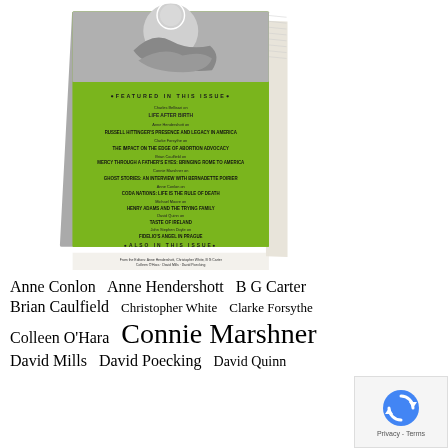[Figure (photo): A green-covered book/magazine standing upright with a black-and-white photo on the top portion and green cover listing articles and features.]
Anne Conlon  Anne Hendershott  B G Carter  Brian Caulfield  Christopher White  Clarke Forsythe  Colleen O'Hara  Connie Marshner  David Mills  David Poecking  David Quinn
[Figure (other): reCAPTCHA badge with rotating arrows icon and Privacy - Terms text]